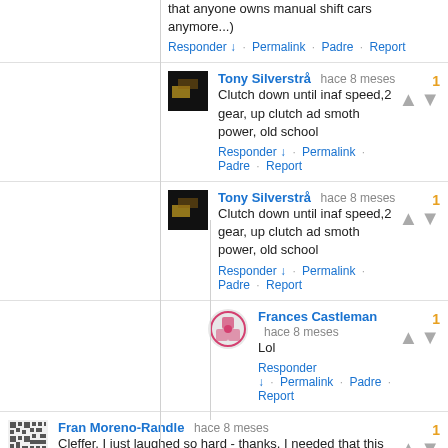that anyone owns manual shift cars anymore...)
Responder ↓ · Permalink · Padre · Report
Tony Silverstrå hace 8 meses
Clutch down until inaf speed,2 gear, up clutch ad smoth power, old school
Responder ↓ · Permalink · Padre · Report
[votes: 1]
Tony Silverstrå hace 8 meses
Clutch down until inaf speed,2 gear, up clutch ad smoth power, old school
Responder ↓ · Permalink · Padre · Report
[votes: 1]
Frances Castleman hace 8 meses
Lol
Responder ↓ · Permalink · Padre · Report
[votes: 1]
Fran Moreno-Randle hace 8 meses
Cleffer, I just laughed so hard - thanks, I needed that this morning!!!
Responder ↓ · Permalink · Padre · Report
[votes: 1]